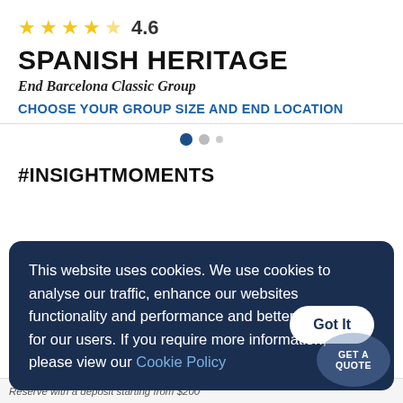[Figure (other): Star rating: 4 full stars and 1 partial (half) star with rating number 4.6]
SPANISH HERITAGE
End Barcelona Classic Group
CHOOSE YOUR GROUP SIZE AND END LOCATION
[Figure (other): Pagination dots: one active (filled dark blue), one inactive grey, one small grey]
#INSIGHTMOMENTS
This website uses cookies. We use cookies to analyse our traffic, enhance our websites functionality and performance and better experience for our users. If you require more information, please view our Cookie Policy
Reserve with a deposit starting from $200